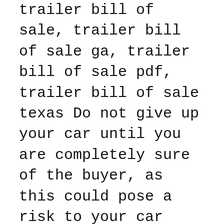trailer bill of sale, trailer bill of sale ga, trailer bill of sale pdf, trailer bill of sale texas Do not give up your car until you are completely sure of the buyer, as this could pose a risk to your car with your life..
where can i get a free bill of sale form? Yahoo Answers. Free Printable Georgia Bill of Sale Form in PDF, Word and Excel. Download Georgia Bill of Sale Form Templates Download Georgia Bill of Sale Form Templates Georgia Bill of Sale Form - Free Templates in PDF, Word, Excel to Print, Bill of sale example georgiarm free templates in pdf word excel to print ga boat printable. At its most basic, a bill of sale should include